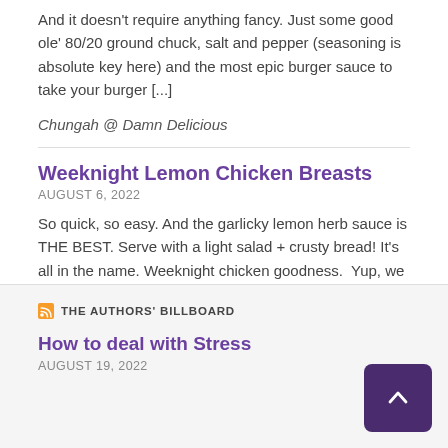And it doesn't require anything fancy. Just some good ole' 80/20 ground chuck, salt and pepper (seasoning is absolute key here) and the most epic burger sauce to take your burger [...]
Chungah @ Damn Delicious
Weeknight Lemon Chicken Breasts
AUGUST 6, 2022
So quick, so easy. And the garlicky lemon herb sauce is THE BEST. Serve with a light salad + crusty bread! It's all in the name. Weeknight chicken goodness.  Yup, we can absolutely whip this out on those super busy weeknights when dinner just feels utterly impossible. So thaw those chicken breasts and let's get [...]
Chungah @ Damn Delicious
THE AUTHORS' BILLBOARD
How to deal with Stress
AUGUST 19, 2022